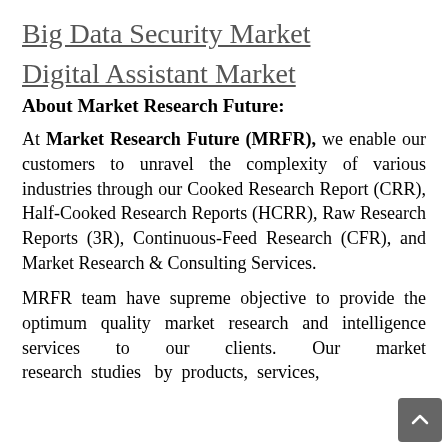Big Data Security Market
Digital Assistant Market
About Market Research Future:
At Market Research Future (MRFR), we enable our customers to unravel the complexity of various industries through our Cooked Research Report (CRR), Half-Cooked Research Reports (HCRR), Raw Research Reports (3R), Continuous-Feed Research (CFR), and Market Research & Consulting Services.
MRFR team have supreme objective to provide the optimum quality market research and intelligence services to our clients. Our market research studies by products, services,